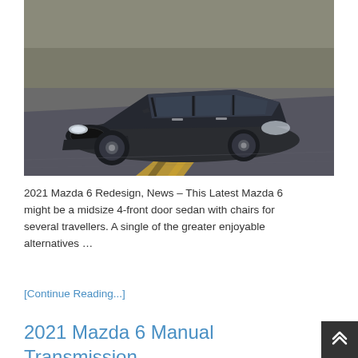[Figure (photo): A dark gray/charcoal Mazda 6 sedan driving on a road with blurred background suggesting motion, trees visible in background]
2021 Mazda 6 Redesign, News – This Latest Mazda 6 might be a midsize 4-front door sedan with chairs for several travellers. A single of the greater enjoyable alternatives …
[Continue Reading...]
2021 Mazda 6 Manual Transmission